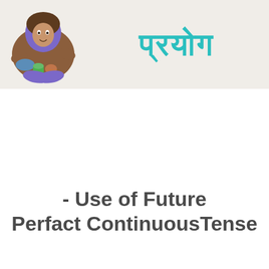[Figure (illustration): A colorful illustrated banner showing a cartoon person sitting cross-legged with books and school items, with Hindi text 'प्रयोग' (meaning 'use/exercise') in teal color on the right side, on a beige/cream background.]
- Use of Future Perfact ContinuousTense